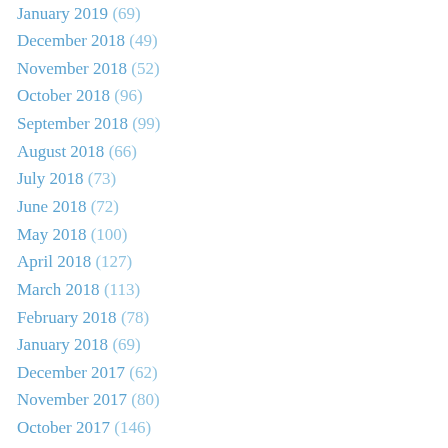January 2019 (69)
December 2018 (49)
November 2018 (52)
October 2018 (96)
September 2018 (99)
August 2018 (66)
July 2018 (73)
June 2018 (72)
May 2018 (100)
April 2018 (127)
March 2018 (113)
February 2018 (78)
January 2018 (69)
December 2017 (62)
November 2017 (80)
October 2017 (146)
September 2017 (108)
August 2017 (61)
July 2017 (66)
June 2017 (71)